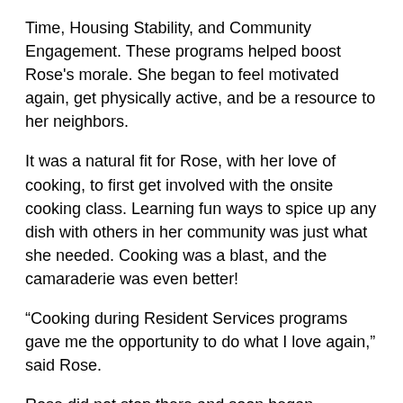Time, Housing Stability, and Community Engagement. These programs helped boost Rose's morale. She began to feel motivated again, get physically active, and be a resource to her neighbors.
It was a natural fit for Rose, with her love of cooking, to first get involved with the onsite cooking class. Learning fun ways to spice up any dish with others in her community was just what she needed. Cooking was a blast, and the camaraderie was even better!
“Cooking during Resident Services programs gave me the opportunity to do what I love again,” said Rose.
Rose did not stop there and soon began participating in many other classes being offered at Timbercreek. She became very engaged in the Feel Better program that promoted overall health and wellness through personal goal